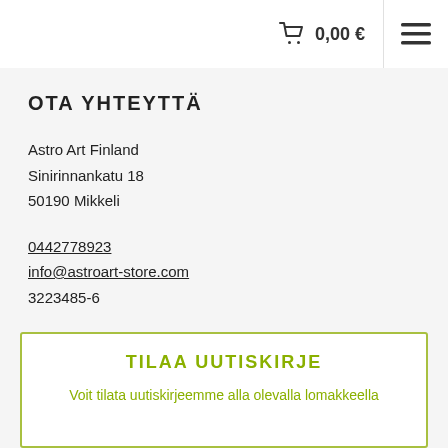🛒 0,00 € ≡
OTA YHTEYTTÄ
Astro Art Finland
Sinirinnankatu 18
50190 Mikkeli
0442778923
info@astroart-store.com
3223485-6
TILAA UUTISKIRJE
Voit tilata uutiskirjeemme alla olevalla lomakkeella